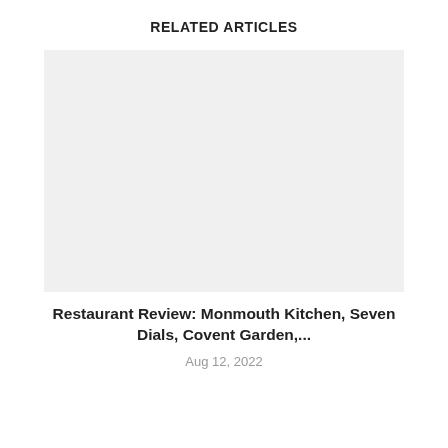RELATED ARTICLES
[Figure (photo): Placeholder image for restaurant article, light gray rectangle]
Restaurant Review: Monmouth Kitchen, Seven Dials, Covent Garden,...
Aug 12, 2022